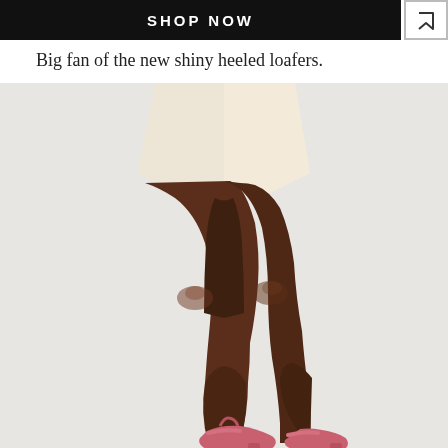[Figure (screenshot): Black SHOP NOW button banner with a heart/bookmark icon box to the right]
Big fan of the new shiny heeled loafers.
[Figure (photo): Photo of a model's legs from mid-thigh down, wearing a cream/beige mini skirt and pink heeled loafers, against a light grey background]